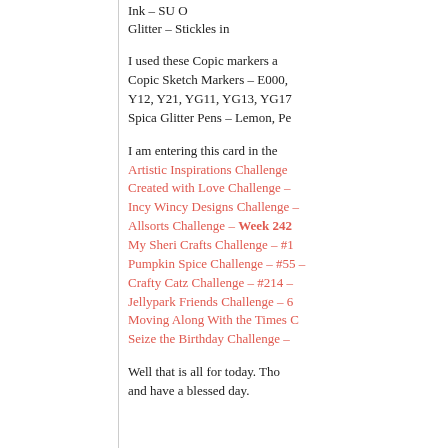Ink – SU O
Glitter – Stickles in
I used these Copic markers a
Copic Sketch Markers – E000,
Y12, Y21, YG11, YG13, YG17
Spica Glitter Pens – Lemon, Pe
I am entering this card in the
Artistic Inspirations Challenge
Created with Love Challenge –
Incy Wincy Designs Challenge –
Allsorts Challenge – Week 242
My Sheri Crafts Challenge – #1
Pumpkin Spice Challenge – #55
Crafty Catz Challenge – #214 –
Jellypark Friends Challenge – 6
Moving Along With the Times C
Seize the Birthday Challenge –
Well that is all for today.  Tho
and have a blessed day.